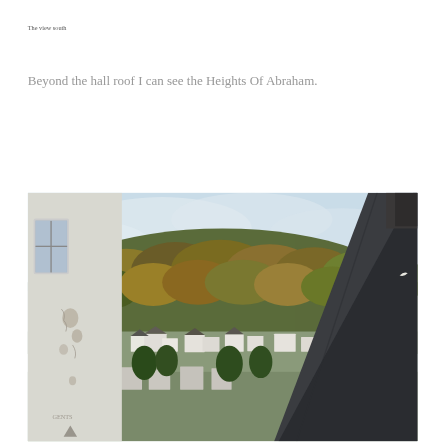The view south
Beyond the hall roof I can see the Heights Of Abraham.
[Figure (photo): Outdoor photograph taken from a rooftop or elevated window. In the foreground left, a white painted wall with a window frame and peeling paint/plaster damage. A dark grey sloped roof/flashing extends diagonally from upper right to lower right. In the background, a hillside densely covered with autumn-coloured trees (greens, oranges, browns) rises above a small town with white buildings. The sky is light blue with clouds.]